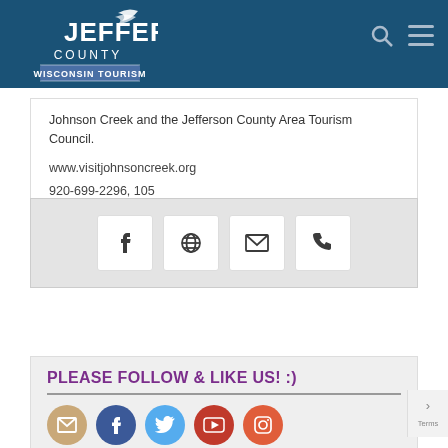[Figure (logo): Jefferson County Wisconsin Tourism logo — white text on dark blue header background]
Johnson Creek and the Jefferson County Area Tourism Council.
www.visitjohnsoncreek.org
920-699-2296, 105
katien@johnsoncreekwi.org
[Figure (infographic): Social contact icon buttons: Facebook, Globe/Website, Email, Phone]
PLEASE FOLLOW & LIKE US! :)
[Figure (infographic): Social media circle icons: Email, Facebook, Twitter, YouTube, Instagram]